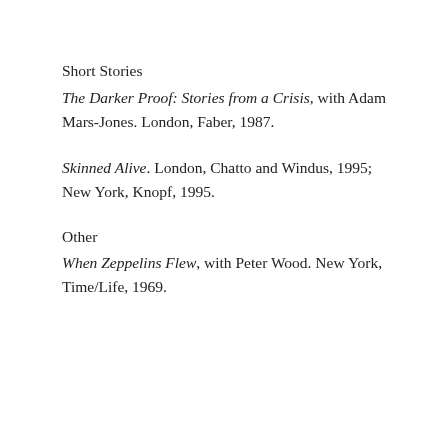Short Stories
The Darker Proof: Stories from a Crisis, with Adam Mars-Jones. London, Faber, 1987.
Skinned Alive. London, Chatto and Windus, 1995; New York, Knopf, 1995.
Other
When Zeppelins Flew, with Peter Wood. New York, Time/Life, 1969.